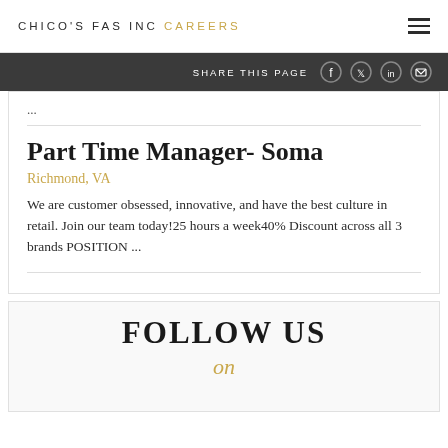CHICO'S FAS INC CAREERS
SHARE THIS PAGE
...
Part Time Manager- Soma
Richmond, VA
We are customer obsessed, innovative, and have the best culture in retail. Join our team today!25 hours a week40% Discount across all 3 brands POSITION ...
FOLLOW US on